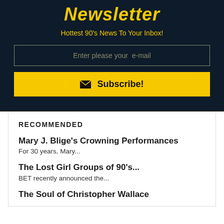Newsletter
Hottest 90's News To Your Inbox!
Enter please your  e-mail
Subscribe!
RECOMMENDED
Mary J. Blige's Crowning Performances
For 30 years, Mary...
The Lost Girl Groups of 90's...
BET recently announced the...
The Soul of Christopher Wallace